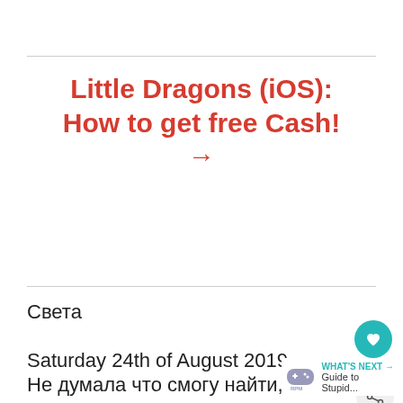Little Dragons (iOS): How to get free Cash! →
Света
Saturday 24th of August 2019
Не думала что смогу найти, сп
[Figure (infographic): WHAT'S NEXT → Guide to Stupid... widget with game controller icon]